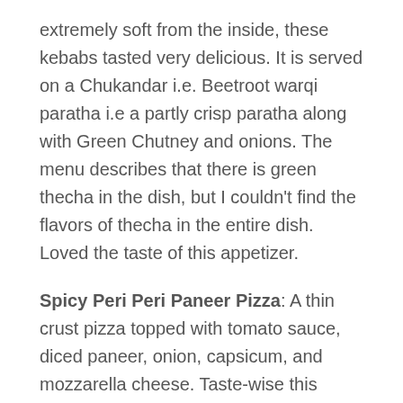extremely soft from the inside, these kebabs tasted very delicious. It is served on a Chukandar i.e. Beetroot warqi paratha i.e a partly crisp paratha along with Green Chutney and onions. The menu describes that there is green thecha in the dish, but I couldn't find the flavors of thecha in the entire dish. Loved the taste of this appetizer.
Spicy Peri Peri Paneer Pizza: A thin crust pizza topped with tomato sauce, diced paneer, onion, capsicum, and mozzarella cheese. Taste-wise this pizza is mindblowing and it's quite filling too.
Mexican Churros: Thane barely has any place that serves churros. Hence I was very excited about having churros after a very long time and Mumbai Fast did not disappoint.